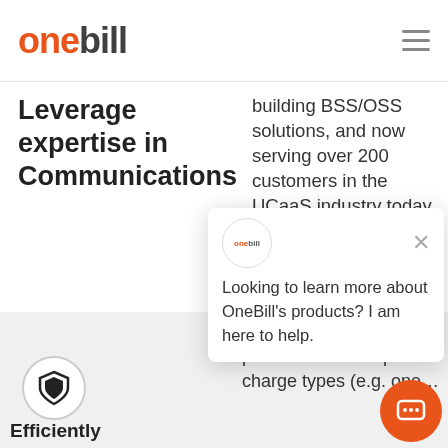[Figure (logo): OneBill logo with 'one' in orange and 'bill' in dark gray]
Leverage expertise in Communications
building BSS/OSS solutions, and now serving over 200 customers in the UCaaS industry today, OneBill is your go-to expert on...
[Figure (other): OneBill chat popup with logo circle, close X button, and text: Looking to learn more about OneBill's products? I am here to help.]
[Figure (illustration): Shield icon in a circle]
Efficiently
Bundle multiple different products with unique charge types (e.g. one...